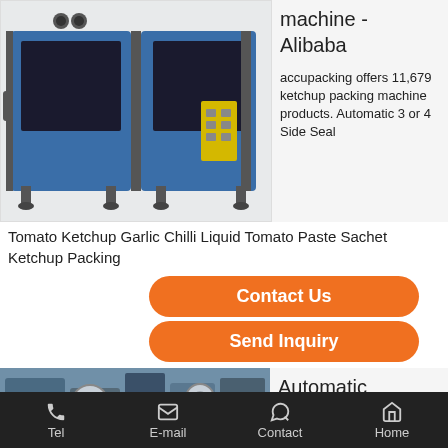[Figure (photo): Blue industrial ketchup packing machine, large boxy machine with dark windows and yellow control panel]
machine - Alibaba

accupacking offers 11,679 ketchup packing machine products. Automatic 3 or 4 Side Seal Tomato Ketchup Garlic Chilli Liquid Tomato Paste Sachet Ketchup Packing
Contact Us
Send Inquiry
[Figure (photo): Industrial tomato paste packing machine with blue metal parts and reels]
Automatic

Tomato Paste
Tel    E-mail    Contact    Home